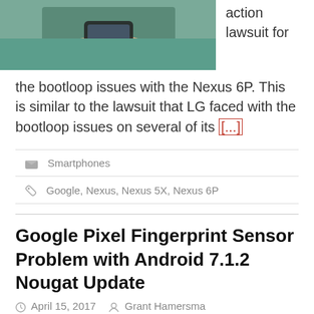[Figure (photo): Person holding a smartphone, partially visible at the top of the page. Image cropped showing hands and teal shirt.]
action lawsuit for the bootloop issues with the Nexus 6P. This is similar to the lawsuit that LG faced with the bootloop issues on several of its [...]
Smartphones
Google, Nexus, Nexus 5X, Nexus 6P
Google Pixel Fingerprint Sensor Problem with Android 7.1.2 Nougat Update
April 15, 2017   Grant Hamersma
[Figure (photo): Two smartphones (Google Pixel devices) shown at the bottom of the page, partially cropped.]
Users of